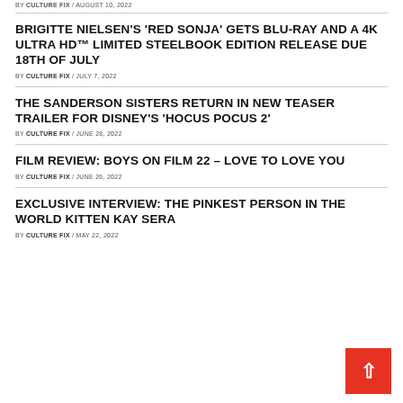BY CULTURE FIX / AUGUST 10, 2022
BRIGITTE NIELSEN'S 'RED SONJA' GETS BLU-RAY AND A 4K ULTRA HD™ LIMITED STEELBOOK EDITION RELEASE DUE 18TH OF JULY
BY CULTURE FIX / JULY 7, 2022
THE SANDERSON SISTERS RETURN IN NEW TEASER TRAILER FOR DISNEY'S 'HOCUS POCUS 2'
BY CULTURE FIX / JUNE 28, 2022
FILM REVIEW: BOYS ON FILM 22 – LOVE TO LOVE YOU
BY CULTURE FIX / JUNE 26, 2022
EXCLUSIVE INTERVIEW: THE PINKEST PERSON IN THE WORLD KITTEN KAY SERA
BY CULTURE FIX / MAY 22, 2022